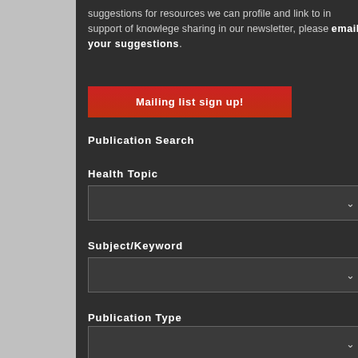suggestions for resources we can profile and link to in support of knowlege sharing in our newsletter, please email your suggestions.
[Figure (screenshot): Red button labeled 'Mailing list sign up!']
Publication Search
Health Topic
[Figure (screenshot): Dropdown selector for Health Topic]
Subject/Keyword
[Figure (screenshot): Dropdown selector for Subject/Keyword]
Publication Type
[Figure (screenshot): Dropdown selector for Publication Type]